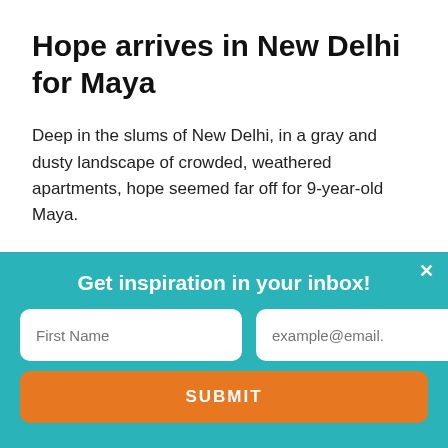Hope arrives in New Delhi for Maya
Deep in the slums of New Delhi, in a gray and dusty landscape of crowded, weathered apartments, hope seemed far off for 9-year-old Maya.
Even in this impoverished setting, Maya was considered a nobody. She suffered epileptic
Get inspiration in your inbox!
[Figure (other): Email signup form with First Name input, example@email. input, and an orange SUBMIT button on a teal background, with an X close button in the top right corner.]